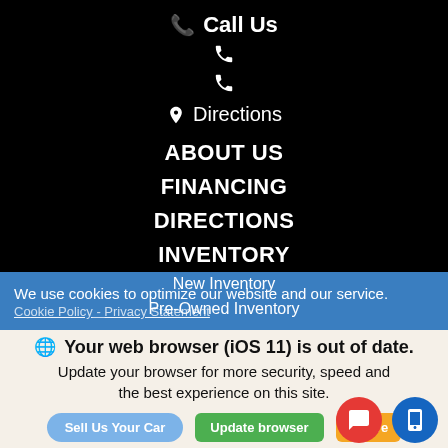Call Us
Directions
ABOUT US
FINANCING
DIRECTIONS
INVENTORY
New Inventory
Pre-Owned Inventory
We use cookies to optimize our website and our service.
Cookie Policy - Privacy Statement
Your web browser (iOS 11) is out of date. Update your browser for more security, speed and the best experience on this site.
Sell Us Your Car
Update browser
Ignore